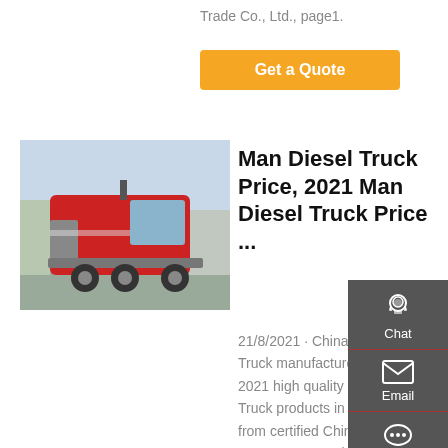Trade Co., Ltd., page1.
Get a Quote
[Figure (photo): Red Man diesel truck / heavy duty tractor unit, 6x4 configuration, parked on a road]
Man Diesel Truck Price, 2021 Man Diesel Truck Price ...
21/8/2021 · China 6x4 Dump Truck manufacturers - Select 2021 high quality 6x4 Dump Truck products in best price from certified Chinese Truck, Heavy Duty Truck suppliers, wholesalers and
Chat
Email
Contact
Top